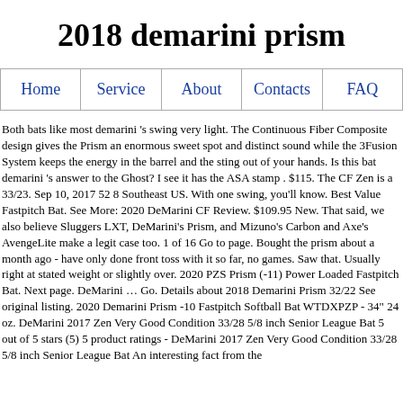2018 demarini prism
| Home | Service | About | Contacts | FAQ |
| --- | --- | --- | --- | --- |
Both bats like most demarini 's swing very light. The Continuous Fiber Composite design gives the Prism an enormous sweet spot and distinct sound while the 3Fusion System keeps the energy in the barrel and the sting out of your hands. Is this bat demarini 's answer to the Ghost? I see it has the ASA stamp . $115. The CF Zen is a 33/23. Sep 10, 2017 52 8 Southeast US. With one swing, you'll know. Best Value Fastpitch Bat. See More: 2020 DeMarini CF Review. $109.95 New. That said, we also believe Sluggers LXT, DeMarini's Prism, and Mizuno's Carbon and Axe's AvengeLite make a legit case too. 1 of 16 Go to page. Bought the prism about a month ago - have only done front toss with it so far, no games. Saw that. Usually right at stated weight or slightly over. 2020 PZS Prism (-11) Power Loaded Fastpitch Bat. Next page. DeMarini … Go. Details about 2018 Demarini Prism 32/22 See original listing. 2020 Demarini Prism -10 Fastpitch Softball Bat WTDXPZP - 34" 24 oz. DeMarini 2017 Zen Very Good Condition 33/28 5/8 inch Senior League Bat 5 out of 5 stars (5) 5 product ratings - DeMarini 2017 Zen Very Good Condition 33/28 5/8 inch Senior League Bat An interesting fact from the